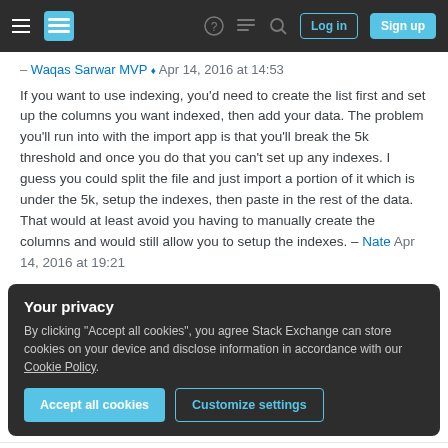Stack Exchange navigation bar with hamburger menu, logo, help, chat, search icons, Log in and Sign up buttons
– Waqas Sarwar MVP ♦ Apr 14, 2016 at 14:53
If you want to use indexing, you'd need to create the list first and set up the columns you want indexed, then add your data. The problem you'll run into with the import app is that you'll break the 5k threshold and once you do that you can't set up any indexes. I guess you could split the file and just import a portion of it which is under the 5k, setup the indexes, then paste in the rest of the data. That would at least avoid you having to manually create the columns and would still allow you to setup the indexes. – Nate Apr 14, 2016 at 19:21
Your privacy
By clicking "Accept all cookies", you agree Stack Exchange can store cookies on your device and disclose information in accordance with our Cookie Policy.
Accept all cookies   Customize settings
4 Answers   Highest score (default)